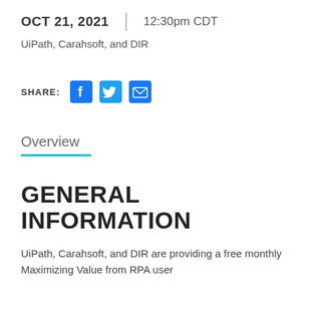OCT 21, 2021 | 12:30pm CDT
UiPath, Carahsoft, and DIR
SHARE:
[Figure (other): Social media share icons: Facebook, Twitter, Email]
Overview
GENERAL INFORMATION
UiPath, Carahsoft, and DIR are providing a free monthly Maximizing Value from RPA user